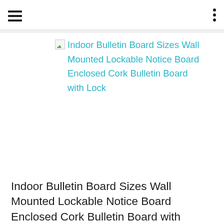[Figure (screenshot): Broken image icon followed by cyan-colored product link text: 'Indoor Bulletin Board Sizes Wall Mounted Lockable Notice Board Enclosed Cork Bulletin Board with Lock']
Indoor Bulletin Board Sizes Wall Mounted Lockable Notice Board Enclosed Cork Bulletin Board with Lock